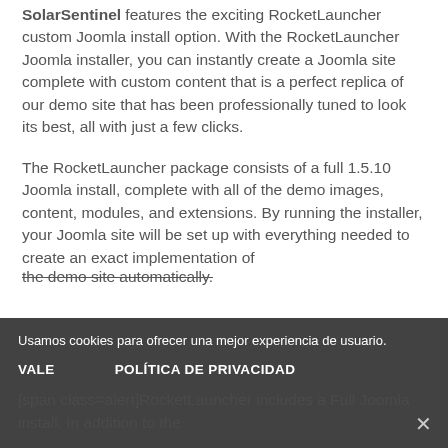SolarSentinel features the exciting RocketLauncher custom Joomla install option. With the RocketLauncher Joomla installer, you can instantly create a Joomla site complete with custom content that is a perfect replica of our demo site that has been professionally tuned to look its best, all with just a few clicks.
The RocketLauncher package consists of a full 1.5.10 Joomla install, complete with all of the demo images, content, modules, and extensions. By running the installer, your Joomla site will be set up with everything needed to create an exact implementation of the demo site automatically.
[span class=alert]RocketLauncher includes a Full Joomla install. In addition to the
Usamos cookies para ofrecer una mejor experiencia de usuario.
VALE    POLÍTICA DE PRIVACIDAD